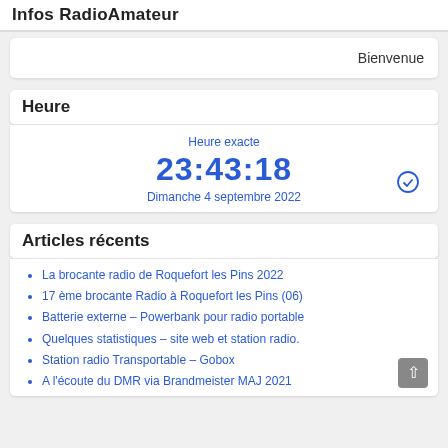Infos RadioAmateur
Bienvenue
Heure
Heure exacte
23:43:18
Dimanche 4 septembre 2022
Articles récents
La brocante radio de Roquefort les Pins 2022
17 ème brocante Radio à Roquefort les Pins (06)
Batterie externe – Powerbank pour radio portable
Quelques statistiques – site web et station radio.
Station radio Transportable – Gobox
A l'écoute du DMR via Brandmeister MAJ 2021